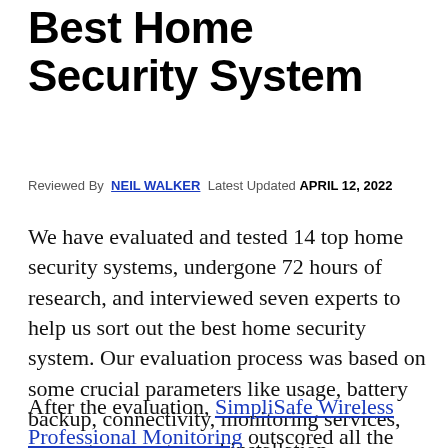Best Home Security System
Reviewed By NEIL WALKER Latest Updated APRIL 12, 2022
We have evaluated and tested 14 top home security systems, undergone 72 hours of research, and interviewed seven experts to help us sort out the best home security system. Our evaluation process was based on some crucial parameters like usage, battery backup, connectivity, monitoring services, support, warranty, and installation.
After the evaluation, SimpliSafe Wireless Professional Monitoring outscored all the other